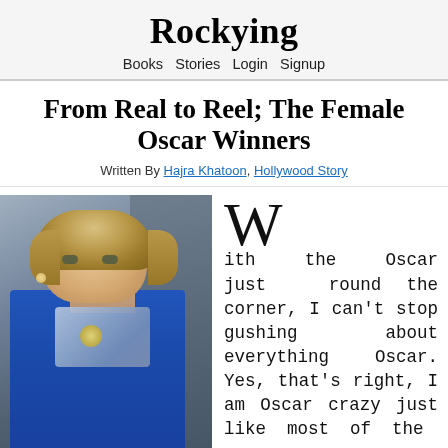Rockying
Books   Stories   Login   Signup
From Real to Reel; The Female Oscar Winners
Written By Hajra Khatoon, Hollywood Story
[Figure (photo): A woman in a blue jacket with a decorative brooch, styled with curled blonde hair, seated in what appears to an auditorium with a crowd in the background.]
With the Oscar just round the corner, I can't stop gushing about everything Oscar. Yes, that's right, I am Oscar crazy just like most of the